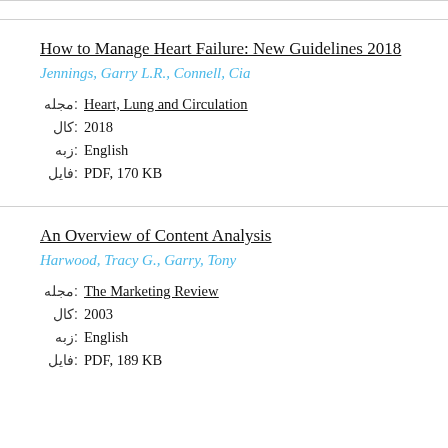How to Manage Heart Failure: New Guidelines 2018
Jennings, Garry L.R., Connell, Cia
مجله: Heart, Lung and Circulation
کال: 2018
زبه: English
فایل: PDF, 170 KB
An Overview of Content Analysis
Harwood, Tracy G., Garry, Tony
مجله: The Marketing Review
کال: 2003
زبه: English
فایل: PDF, 189 KB